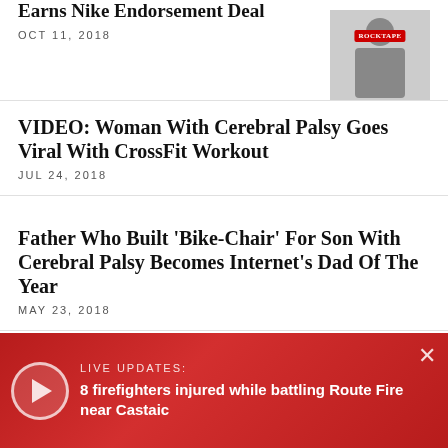Earns Nike Endorsement Deal
OCT 11, 2018
[Figure (photo): Person seated, wearing RockTape branded shirt/hat, giving thumbs up]
VIDEO: Woman With Cerebral Palsy Goes Viral With CrossFit Workout
JUL 24, 2018
Father Who Built 'Bike-Chair' For Son With Cerebral Palsy Becomes Internet's Dad Of The Year
MAY 23, 2018
Parents of Disabled Teen Threaten To Sue School After Daughter Breaks Leg
MAY 23, 2016
Burglars In Whittier S... Way To Communicate...
LIVE UPDATES: 8 firefighters injured while battling Route Fire near Castaic